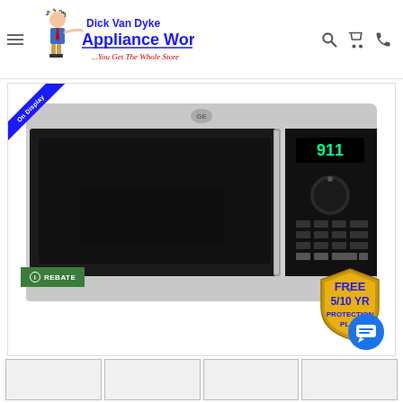Dick Van Dyke Appliance World — ...You Get The Whole Store
[Figure (photo): GE over-the-range microwave oven in stainless steel, front view showing black door panel with digital display showing '911' and control knob/buttons on right side]
On Display
REBATE
[Figure (illustration): Shield badge reading FREE 5/10 YR PROTECTION PLAN]
[Figure (illustration): Blue circular chat button with message icon]